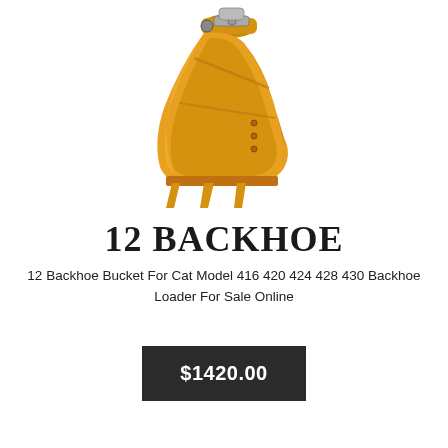[Figure (photo): Yellow/orange backhoe bucket attachment with three cutting teeth at the bottom, shown on white background. Compatible with Cat Model 416 420 424 428 430 backhoe loaders.]
12 BACKHOE
12 Backhoe Bucket For Cat Model 416 420 424 428 430 Backhoe Loader For Sale Online
$1420.00